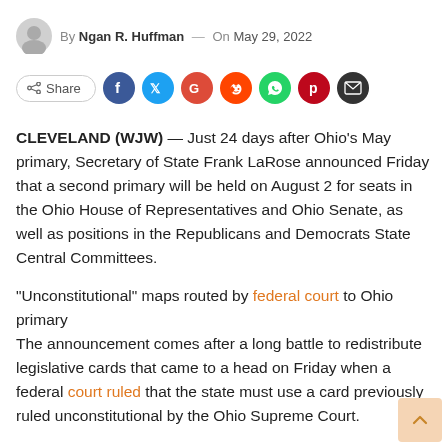By Ngan R. Huffman — On May 29, 2022
[Figure (infographic): Social share bar with Share button and icons for Facebook, Twitter, Google, Reddit, WhatsApp, Pinterest, and Email]
CLEVELAND (WJW) — Just 24 days after Ohio's May primary, Secretary of State Frank LaRose announced Friday that a second primary will be held on August 2 for seats in the Ohio House of Representatives and Ohio Senate, as well as positions in the Republicans and Democrats State Central Committees.
"Unconstitutional" maps routed by federal court to Ohio primary
The announcement comes after a long battle to redistribute legislative cards that came to a head on Friday when a federal court ruled that the state must use a card previously ruled unconstitutional by the Ohio Supreme Court.
"People talk about playing political darts in the dark and no one knows if they're running or what's happening or where they're